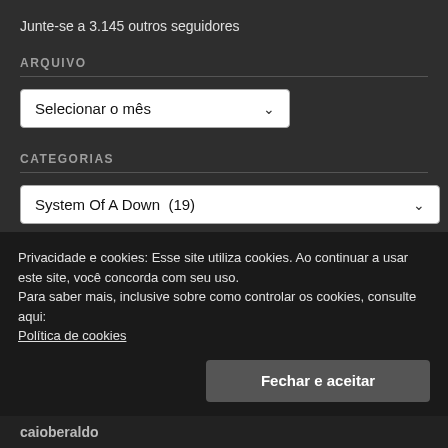Junte-se a 3.145 outros seguidores
ARQUIVO
[Figure (screenshot): Dropdown selector showing 'Selecionar o mês' with a chevron arrow]
CATEGORIAS
[Figure (screenshot): Dropdown selector showing 'System Of A Down  (19)' with a chevron arrow]
RELEMBRE POSTS ALEATORIAMENTE
Post Aleatório
Privacidade e cookies: Esse site utiliza cookies. Ao continuar a usar este site, você concorda com seu uso.
Para saber mais, inclusive sobre como controlar os cookies, consulte aqui:
Política de cookies
Fechar e aceitar
caioberaldo